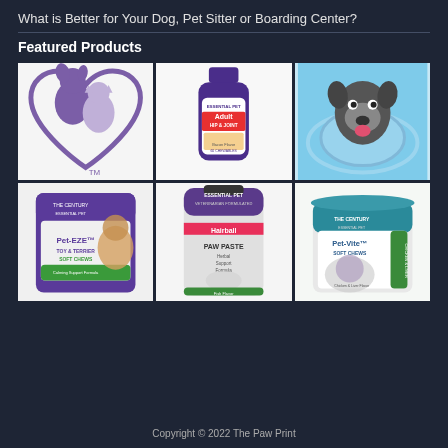What is Better for Your Dog, Pet Sitter or Boarding Center?
Featured Products
[Figure (photo): Purple heart-shaped logo with silhouettes of a dog and cat, with TM mark]
[Figure (photo): Essential Pet Adult Hip & Joint supplement bottle with golden retriever image]
[Figure (photo): Schnauzer dog wearing a blue cone collar, looking up happily]
[Figure (photo): Pet-EZE Toy & Terrier Soft Chews calming support formula package with Jack Russell terrier]
[Figure (photo): Essential Pet Hairball Paw Paste herbal support formula tube with cat image]
[Figure (photo): Pet-Vite Soft Chews container with cat image, chicken & liver flavor]
Copyright © 2022 The Paw Print